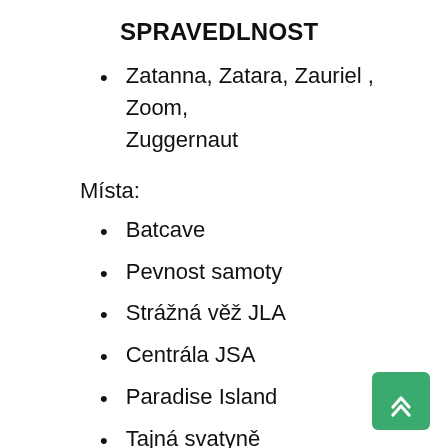SPRAVEDLNOST
Zatanna, Zatara, Zauriel , Zoom, Zuggernaut
Místa:
Batcave
Pevnost samoty
Strážná věž JLA
Centrála JSA
Paradise Island
Tajná svatyně
Titans Tower III